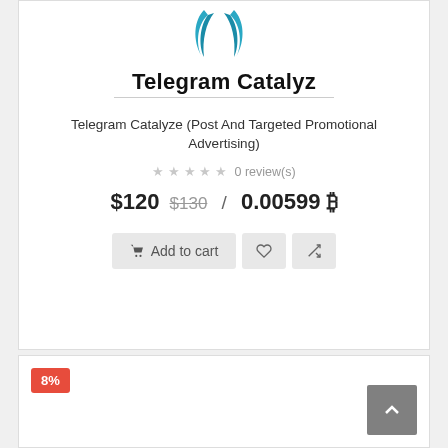[Figure (logo): Telegram Catalyz logo with two blue leaf/wing shapes and brand name text]
Telegram Catalyze (Post And Targeted Promotional Advertising)
0 review(s)
$120  $130  /  0.00599 ₿
Add to cart
8%